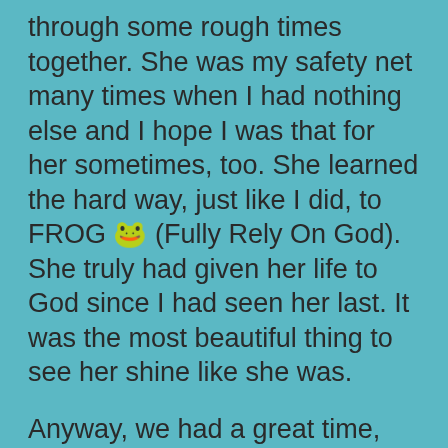through some rough times together. She was my safety net many times when I had nothing else and I hope I was that for her sometimes, too. She learned the hard way, just like I did, to FROG 🐸 (Fully Rely On God). She truly had given her life to God since I had seen her last. It was the most beautiful thing to see her shine like she was.
Anyway, we had a great time, not long enough though. We said our goodbyes.
I kept it together.
On the way home, I was just begging God to show me what I'm missing. Life is rough at times and I have a hard time managing it all. So